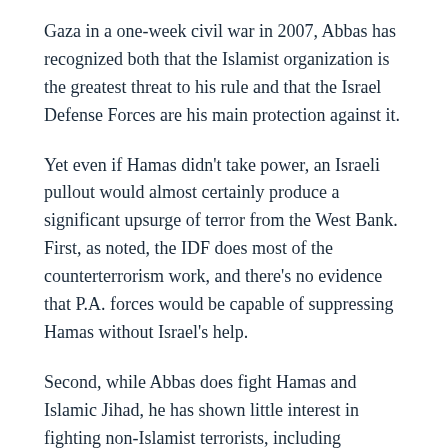Gaza in a one-week civil war in 2007, Abbas has recognized both that the Islamist organization is the greatest threat to his rule and that the Israel Defense Forces are his main protection against it.
Yet even if Hamas didn't take power, an Israeli pullout would almost certainly produce a significant upsurge of terror from the West Bank. First, as noted, the IDF does most of the counterterrorism work, and there's no evidence that P.A. forces would be capable of suppressing Hamas without Israel's help.
Second, while Abbas does fight Hamas and Islamic Jihad, he has shown little interest in fighting non-Islamist terrorists, including elements of his own Fatah party and smaller groups like the Popular Front for the Liberation of Palestine. Moreover, many of his likely successors in Fatah are even more supportive of terror than the 83-year-old Abbas (who both funds and incites it). Thus without the IDF, terror from non-Islamist groups would also rise.
Israel would obviously treat escalating terror from the West Bank no differently than it treats terror from Gaza. That means periodic military operations, with all the attendant casualties. It also means restrictions